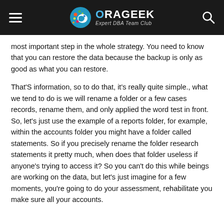ORAGEEK Expert DBA Team Club
most important step in the whole strategy. You need to know that you can restore the data because the backup is only as good as what you can restore.
That'S information, so to do that, it's really quite simple., what we tend to do is we will rename a folder or a few cases records, rename them, and only applied the word test in front. So, let's just use the example of a reports folder, for example, within the accounts folder you might have a folder called statements. So if you precisely rename the folder research statements it pretty much, when does that folder useless if anyone's trying to access it? So you can't do this while beings are working on the data, but let's just imagine for a few moments, you're going to do your assessment, rehabilitate you make sure all your accounts.